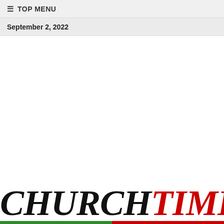≡ TOP MENU
September 2, 2022
[Figure (logo): Church Times logo with 'CHURCH' in black italic serif and 'TIMES' in red italic serif, with a green and red underline bar]